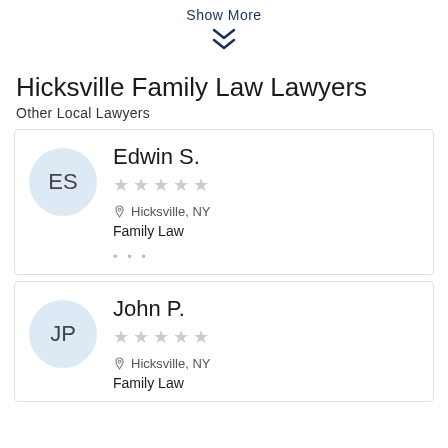Show More
[Figure (illustration): Double chevron down arrow icon in dark navy]
Hicksville Family Law Lawyers
Other Local Lawyers
Edwin S. — Hicksville, NY — Family Law — no rating
John P. — Hicksville, NY — Family Law — no rating